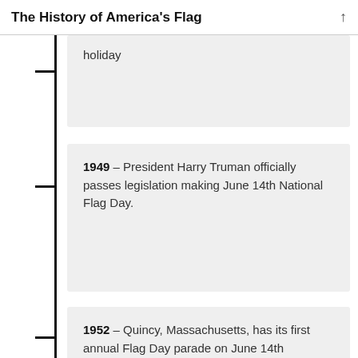The History of America's Flag
holiday
1949 – President Harry Truman officially passes legislation making June 14th National Flag Day.
1952 – Quincy, Massachusetts, has its first annual Flag Day parade on June 14th